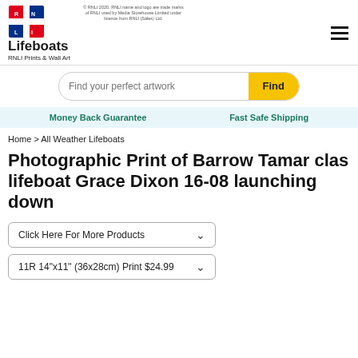[Figure (logo): RNLI Lifeboats logo with flag icon, brand name 'Lifeboats' and subtitle 'RNLI Prints & Wall Art', plus trademark text]
© RNLI 2020. RNLI name and logo are trade marks of RNLI used by Media Storehouse Limited under licence from RNLI (Sales) Ltd.
[Figure (other): Hamburger menu icon (three horizontal lines)]
Find your perfect artwork
Find
Money Back Guarantee
Fast Safe Shipping
Home > All Weather Lifeboats
Photographic Print of Barrow Tamar clas lifeboat Grace Dixon 16-08 launching down
Click Here For More Products
11R 14"x11" (36x28cm) Print $24.99